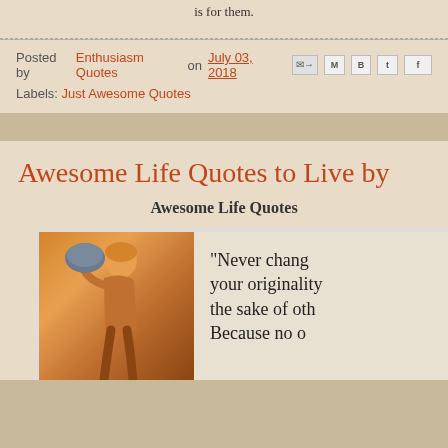is for them.
Posted by Enthusiasm Quotes on July 03, 2018
Labels: Just Awesome Quotes
Awesome Life Quotes to Live by
Awesome Life Quotes
[Figure (illustration): Person carrying a bag with quote text: Never change your originality the sake of oth... Because no o...]